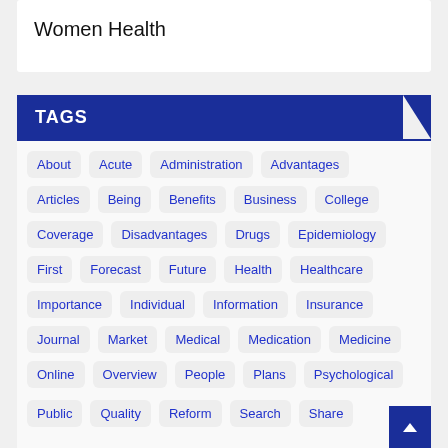Women Health
TAGS
About
Acute
Administration
Advantages
Articles
Being
Benefits
Business
College
Coverage
Disadvantages
Drugs
Epidemiology
First
Forecast
Future
Health
Healthcare
Importance
Individual
Information
Insurance
Journal
Market
Medical
Medication
Medicine
Online
Overview
People
Plans
Psychological
Public
Quality
Reform
Search
Share